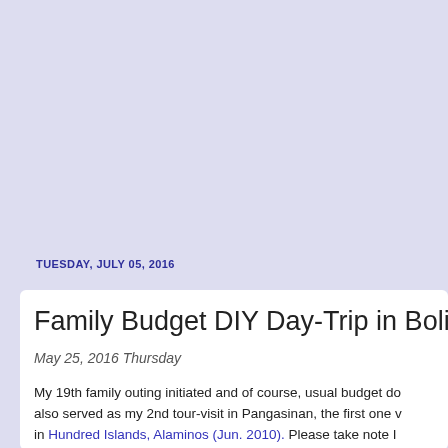TUESDAY, JULY 05, 2016
Family Budget DIY Day-Trip in Bolinao, Pa...
May 25, 2016 Thursday
My 19th family outing initiated and of course, usual budget do... also served as my 2nd tour-visit in Pangasinan, the first one w... in Hundred Islands, Alaminos (Jun. 2010). Please take note I... arrived there as this day was considered as off-peak (weekday...